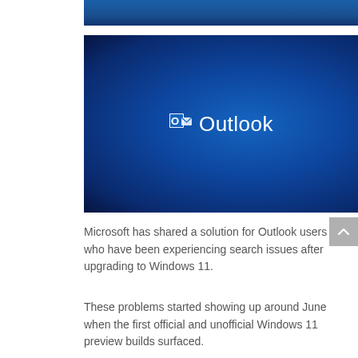[Figure (screenshot): Partial top strip of a blue gradient Outlook splash screen image]
[Figure (screenshot): Microsoft Outlook logo on a deep blue gradient background. The Outlook icon (white O with envelope) and the word 'Outlook' in white text are centered.]
Microsoft has shared a solution for Outlook users who have been experiencing search issues after upgrading to Windows 11.
These problems started showing up around June when the first official and unofficial Windows 11 preview builds surfaced.